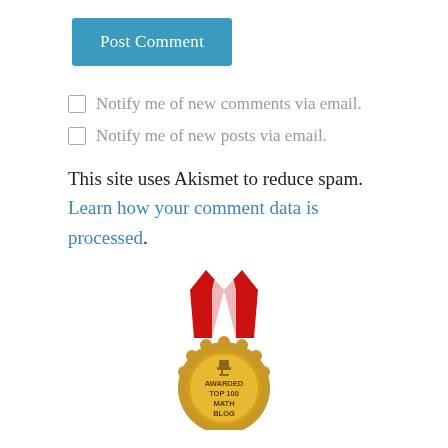Post Comment
Notify me of new comments via email.
Notify me of new posts via email.
This site uses Akismet to reduce spam. Learn how your comment data is processed.
[Figure (illustration): Gold medal with red ribbon awarded Top 100 Math Blog]